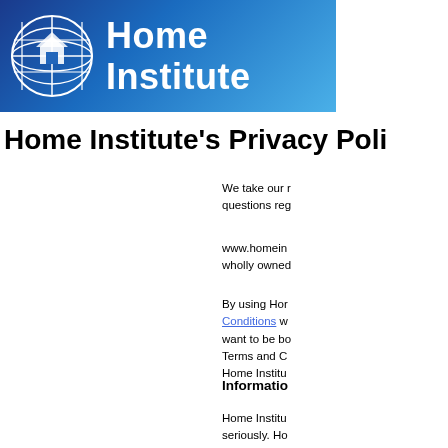[Figure (logo): Home Institute logo: globe icon with house on blue gradient background, white bold text 'Home Institute']
Home Institute's Privacy Poli
We take our r questions reg
www.homein wholly owned
By using Hor Conditions w want to be bo Terms and C Home Institu
Informatio
Home Institu seriously. Ho